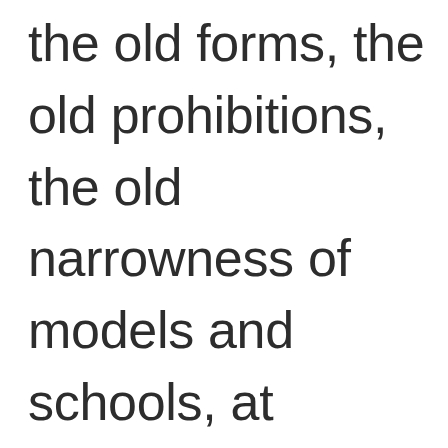the old forms, the old prohibitions, the old narrowness of models and schools, at coming into the presence